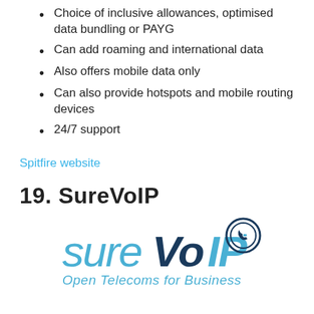Choice of inclusive allowances, optimised data bundling or PAYG
Can add roaming and international data
Also offers mobile data only
Can also provide hotspots and mobile routing devices
24/7 support
Spitfire website
19. SureVoIP
[Figure (logo): SureVoIP logo with tagline 'Open Telecoms for Business']